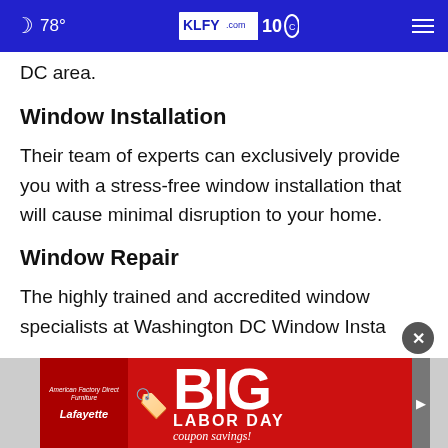🌙 78° | KLFY.com 10
DC area.
Window Installation
Their team of experts can exclusively provide you with a stress-free window installation that will cause minimal disruption to your home.
Window Repair
The highly trained and accredited window specialists at Washington DC Window Insta...
[Figure (infographic): Advertisement banner: American Factory Direct Furniture Lafayette - BIG LABOR DAY coupon savings!]